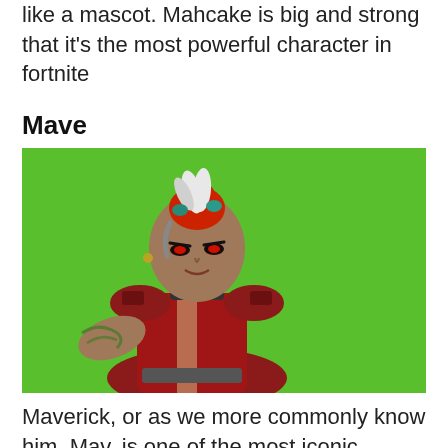like a mascot. Mahcake is big and strong that it's the most powerful character in fortnite
Mave
[Figure (photo): Fortnite character Mave (also known as Maverick) rendered against a bright green background. The character is a woman with red hair pulled up with white feathers, wearing red and brown armor with a spiked collar, and has glowing red eyes. She has tattoos on her arm.]
Maverick, or as we more commonly know him, Mav, is one of the most iconic players in Fortnite Battle Royale. The character is incredibly popular among players all around the world. He brings